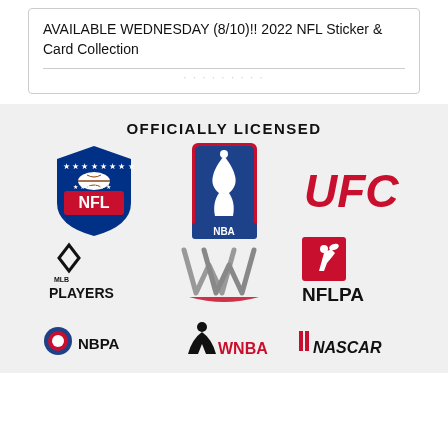AVAILABLE WEDNESDAY (8/10)!! 2022 NFL Sticker & Card Collection
OFFICIALLY LICENSED
[Figure (logo): Grid of officially licensed sports logos including NFL, NBA, UFC, MLB Players, WWE, NFLPA, NBPA, WNBA, NASCAR]
[faded partial text]